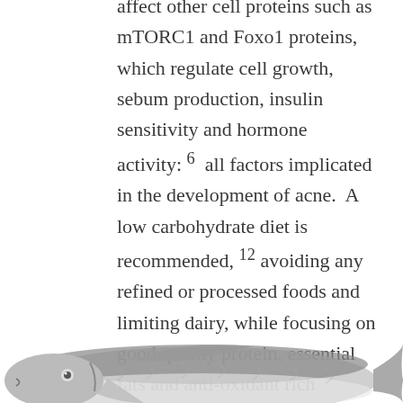affect other cell proteins such as mTORC1 and Foxo1 proteins, which regulate cell growth, sebum production, insulin sensitivity and hormone activity: 6 all factors implicated in the development of acne. A low carbohydrate diet is recommended, 12 avoiding any refined or processed foods and limiting dairy, while focusing on good quality protein, essential fats and anti-oxidant rich vegetables.
[Figure (illustration): Illustration of a fish (herring or sardine), shown from the side, partially visible at the bottom of the page.]